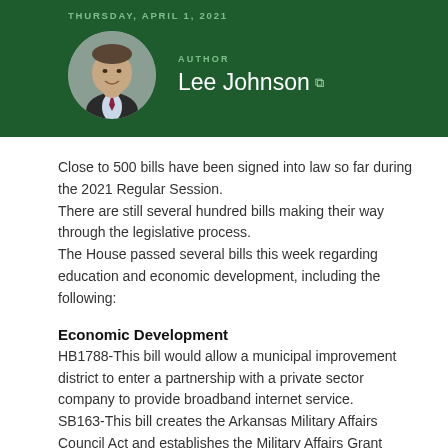THURSDAY, APRIL 1, 2021
[Figure (photo): Circular portrait photo of Lee Johnson, a man in a dark suit with a red/purple tie, smiling, against a gray background]
AUTHOR
Lee Johnson
Close to 500 bills have been signed into law so far during the 2021 Regular Session.
There are still several hundred bills making their way through the legislative process.
The House passed several bills this week regarding education and economic development, including the following:
Economic Development
HB1788-This bill would allow a municipal improvement district to enter a partnership with a private sector company to provide broadband internet service.
SB163-This bill creates the Arkansas Military Affairs Council Act and establishes the Military Affairs Grant